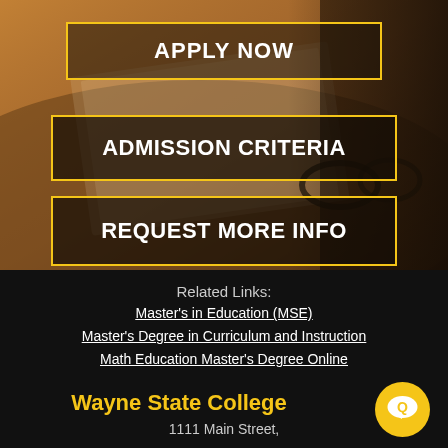[Figure (photo): Blurred background photo of an open book and desk with glasses, warm brown tones]
APPLY NOW
ADMISSION CRITERIA
REQUEST MORE INFO
Related Links:
Master's in Education (MSE)
Master's Degree in Curriculum and Instruction
Math Education Master's Degree Online
Wayne State College
1111 Main Street,